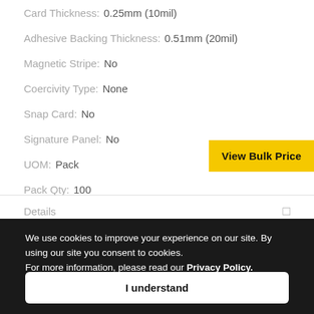Card Thickness: 0.25mm (10mil)
Adhesive Backing Thickness: 0.51mm (20mil)
Magnetic Stripe: No
Coercivity Type: None
Snap Card: No
Signature Panel: No
UOM: Pack
Pack Qty: 100
View Bulk Price
Details
We use cookies to improve your experience on our site. By using our site you consent to cookies. For more information, please read our Privacy Policy.
I understand